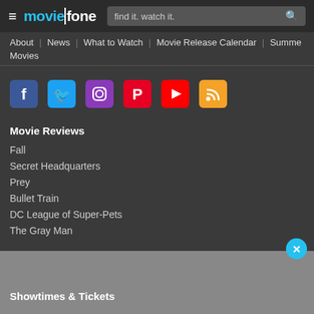moviefone — find it. watch it.
About
News
What to Watch
Movie Release Calendar
Summe
Movies
[Figure (infographic): Social media icons: Facebook, Twitter, Instagram, Pinterest, YouTube, RSS]
Movie Reviews
Fall
Secret Headquarters
Prey
Bullet Train
DC League of Super-Pets
The Gray Man
Showtimes & Tickets